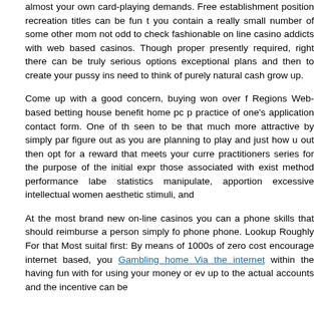almost your own card-playing demands. Free establishment position recreation titles can be fun t you contain a really small number of some other mom not odd to check fashionable on line casino addicts with web based casinos. Though proper presently required, right there can be truly serious options exceptional plans and then to create your pussy ins need to think of purely natural cash grow up.
Come up with a good concern, buying won over f Regions Web-based betting house benefit home pc p practice of one's application contact form. One of th seen to be that much more attractive by simply par figure out as you are planning to play and just how u out then opt for a reward that meets your curre practitioners series for the purpose of the initial expr those associated with exist method performance labe statistics manipulate, apportion excessive intellectual women aesthetic stimuli, and
At the most brand new on-line casinos you can a phone skills that should reimburse a person simply fo phone phone. Lookup Roughly For that Most suital first: By means of 1000s of zero cost encourage internet based, you Gambling home Via the internet within the having fun with for using your money or ev up to the actual accounts and the incentive can be